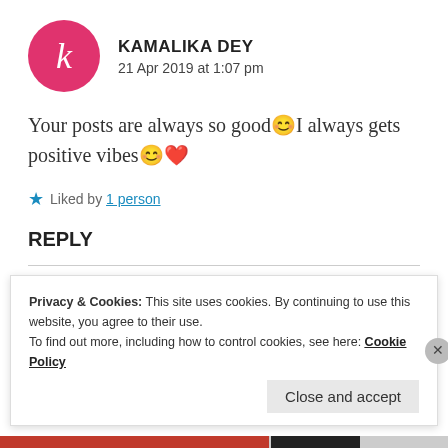KAMALIKA DEY
21 Apr 2019 at 1:07 pm
Your posts are always so good😊I always gets positive vibes😊❤
★ Liked by 1 person
REPLY
Privacy & Cookies: This site uses cookies. By continuing to use this website, you agree to their use.
To find out more, including how to control cookies, see here: Cookie Policy
Close and accept